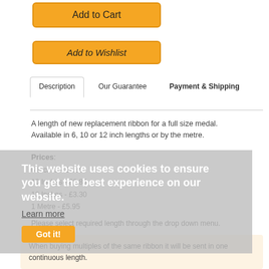Add to Cart
Add to Wishlist
Description | Our Guarantee | Payment & Shipping
A length of new replacement ribbon for a full size medal. Available in 6, 10 or 12 inch lengths or by the metre.
Prices: 6 Inches - £2.35 | 10 Inches - £2.85 | 12 Inches - £3.30 | 1 Metre - £5.95
Please select required length through the drop down menu.
When buying multiples of the same ribbon it will be sent in one continuous length.
This website uses cookies to ensure you get the best experience on our website. Learn more Got it!